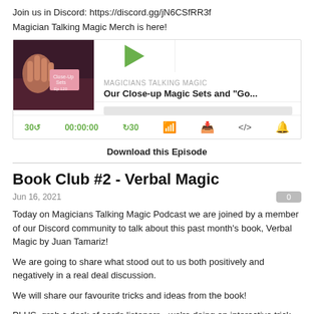Join us in Discord: https://discord.gg/jN6CSfRR3f
Magician Talking Magic Merch is here!
[Figure (screenshot): Podcast player widget for 'Magicians Talking Magic' episode titled 'Our Close-up Magic Sets and "Go..."' with play button, progress bar, and controls showing 30-second skip buttons and timestamp 00:00:00]
Download this Episode
Book Club #2 - Verbal Magic
Jun 16, 2021
Today on Magicians Talking Magic Podcast we are joined by a member of our Discord community to talk about this past month's book, Verbal Magic by Juan Tamariz!
We are going to share what stood out to us both positively and negatively in a real deal discussion.
We will share our favourite tricks and ideas from the book!
PLUS, grab a deck of cards listeners - we're doing an interactive trick later in